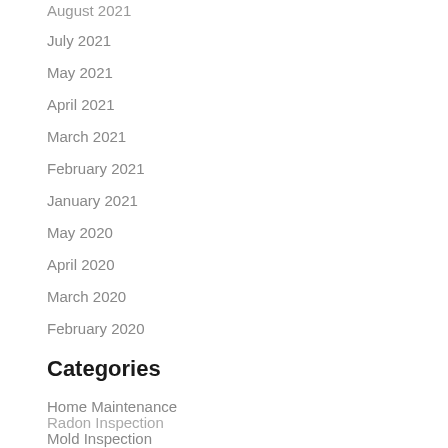August 2021
July 2021
May 2021
April 2021
March 2021
February 2021
January 2021
May 2020
April 2020
March 2020
February 2020
Categories
Home Maintenance
Mold Inspection
Radon Inspection